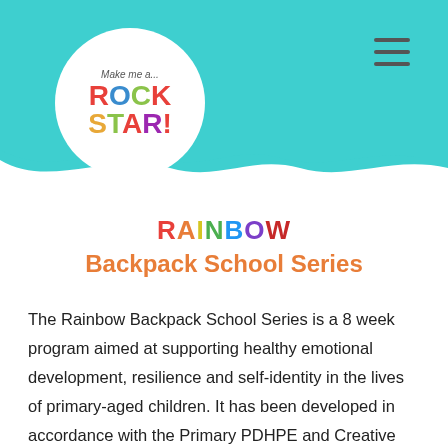[Figure (logo): Make Me a Rock Star logo inside a white circle on a teal header background, with a hamburger menu icon in the top-right]
RAINBOW
Backpack School Series
The Rainbow Backpack School Series is a 8 week program aimed at supporting healthy emotional development, resilience and self-identity in the lives of primary-aged children. It has been developed in accordance with the Primary PDHPE and Creative Arts syllabus and My Time,